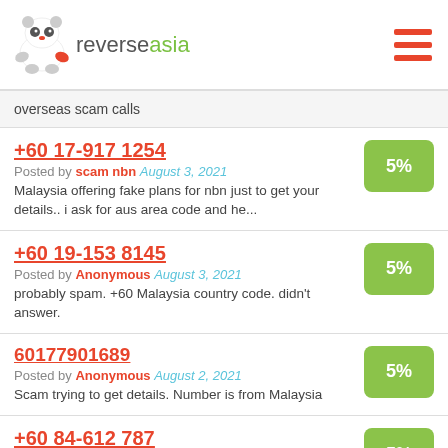reverseasia
overseas scam calls
+60 17-917 1254
Posted by scam nbn August 3, 2021
Malaysia offering fake plans for nbn just to get your details.. i ask for aus area code and he...
+60 19-153 8145
Posted by Anonymous August 3, 2021
probably spam. +60 Malaysia country code. didn't answer.
60177901689
Posted by Anonymous August 2, 2021
Scam trying to get details. Number is from Malaysia
+60 84-612 787
Posted by Anonymous July 29, 2021
recorded message threatening to disconnect my